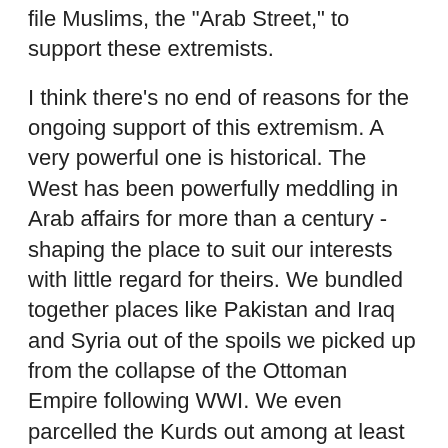file Muslims, the "Arab Street," to support these extremists.
I think there's no end of reasons for the ongoing support of this extremism. A very powerful one is historical. The West has been powerfully meddling in Arab affairs for more than a century - shaping the place to suit our interests with little regard for theirs. We bundled together places like Pakistan and Iraq and Syria out of the spoils we picked up from the collapse of the Ottoman Empire following WWI. We even parcelled the Kurds out among at least six nations, sort of like sending the orphan kids off to live with various, distant relatives. In the process, we have persistently lied to and betrayed these people. We have persistently manipulated them to suit our purposes.
We've been astonishingly racist toward Arabs. We've treated them as though because they're Arabs or Muslims or something they don't need or aspire to the same things we insist upon - little things like human rights and democracy. Think I'm kidding? Look at the state of human rights and democratic movements in the West's two closest Arab states - Egypt and Saudi Arabia. Do you think it's just oversight that